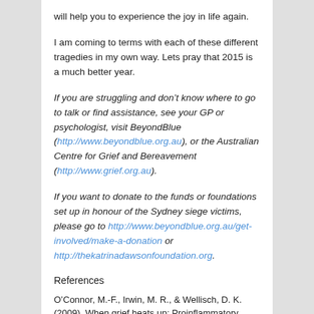will help you to experience the joy in life again.
I am coming to terms with each of these different tragedies in my own way. Lets pray that 2015 is a much better year.
If you are struggling and don’t know where to go to talk or find assistance, see your GP or psychologist, visit BeyondBlue (http://www.beyondblue.org.au), or the Australian Centre for Grief and Bereavement (http://www.grief.org.au).
If you want to donate to the funds or foundations set up in honour of the Sydney siege victims, please go to http://www.beyondblue.org.au/get-involved/make-a-donation or http://thekatrinadawsonfoundation.org.
References
O’Connor, M.-F., Irwin, M. R., & Wellisch, D. K. (2009). When grief heats up: Proinflammatory cytokines predict